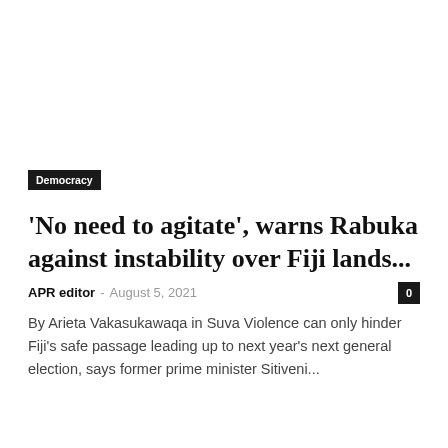Democracy
'No need to agitate', warns Rabuka against instability over Fiji lands...
APR editor  -  August 5, 2021
By Arieta Vakasukawaqa in Suva Violence can only hinder Fiji's safe passage leading up to next year's next general election, says former prime minister Sitiveni...